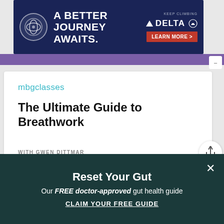[Figure (screenshot): Delta Airlines advertisement banner: dark navy blue background with SkyMiles logo, text 'A BETTER JOURNEY AWAITS.' in white bold, Delta triangle logo with 'KEEP CLIMBING DELTA' text, and red 'LEARN MORE >' button]
mbgclasses
The Ultimate Guide to Breathwork
WITH GWEN DITTMAR
[Figure (screenshot): Course thumbnail image with teal/blue gradient background showing italic text 'The Ultimate Guide to Breathwork' in white]
Reset Your Gut
Our FREE doctor-approved gut health guide
CLAIM YOUR FREE GUIDE